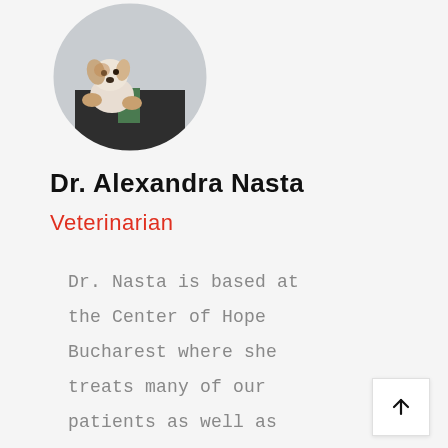[Figure (photo): Circular profile photo of Dr. Alexandra Nasta, a veterinarian, holding a puppy]
Dr. Alexandra Nasta
Veterinarian
Dr. Nasta is based at the Center of Hope Bucharest where she treats many of our patients as well as participating in ongoing spay and neuter projects. She also is one